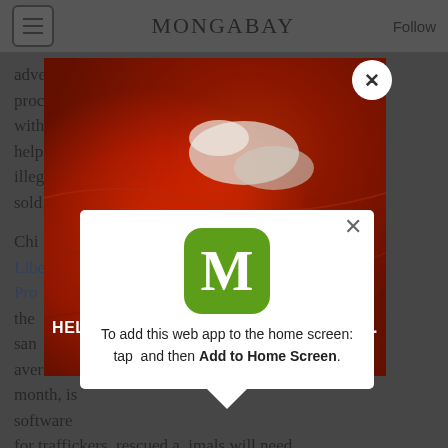MONGABAY
advertising publicly, the hope is that the proc with help illeg sold
Chi Libe Pro the san average month, is software for traffickers, rescued animals will need
[Figure (screenshot): Mongabay ad overlay: 'HELP MONGABAY BETTER SERVE YOU.' with red aerial landscape background, and inner white popup with Mongabay app icon (green M) and text 'To add this web app to the home screen: tap and then Add to Home Screen.']